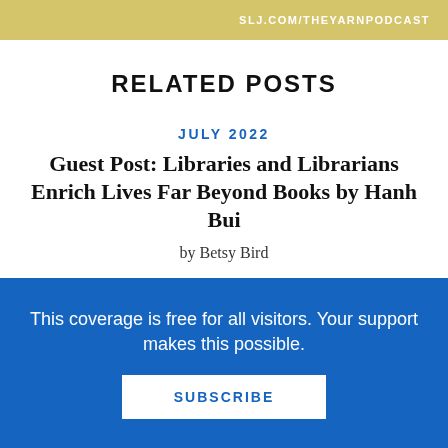[Figure (other): Gold banner with text SLJ.COM/THEYARNPODCAST]
RELATED POSTS
JULY 2022
Guest Post: Libraries and Librarians Enrich Lives Far Beyond Books by Hanh Bui
by Betsy Bird
JULY 2022
This coverage is free for all visitors. Your support makes this possible.
SUBSCRIBE